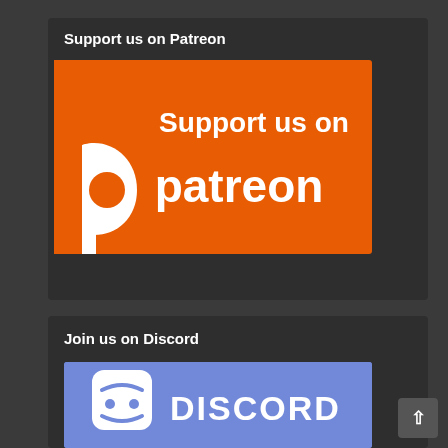Support us on Patreon
[Figure (logo): Orange Patreon banner with white text 'Support us on' and the Patreon logo and wordmark]
Join us on Discord
[Figure (logo): Blue Discord banner with Discord logo and wordmark partially visible]